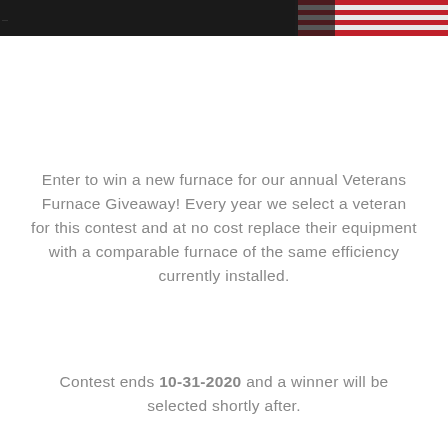[Figure (photo): Partial view of an American flag (red, white, and blue) at the top of the page, cropped.]
Enter to win a new furnace for our annual Veterans Furnace Giveaway! Every year we select a veteran for this contest and at no cost replace their equipment with a comparable furnace of the same efficiency currently installed.
Contest ends 10-31-2020 and a winner will be selected shortly after.